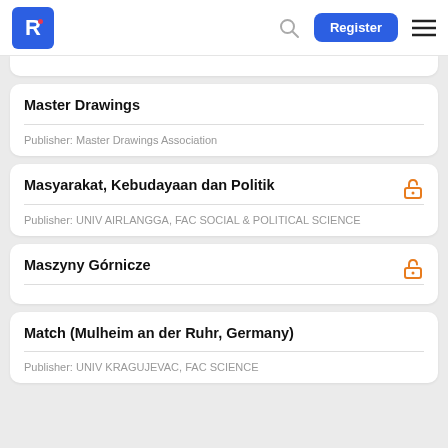R Register
Master Drawings
Publisher: Master Drawings Association
Masyarakat, Kebudayaan dan Politik
Publisher: UNIV AIRLANGGA, FAC SOCIAL & POLITICAL SCIENCE
Maszyny Górnicze
Match (Mulheim an der Ruhr, Germany)
Publisher: UNIV KRAGUJEVAC, FAC SCIENCE